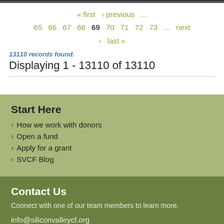« first  ‹ previous  ...  65  66  67  68  69  70  71  72  73  ...  next  ›  last »
13110 records found.
Displaying 1 - 13110 of 13110
Start Here
How we work with donors
Open a fund
Apply for a grant
SVCF Blog
Contact Us
Connect with one of our team members to learn more.
info@siliconvalleycf.org